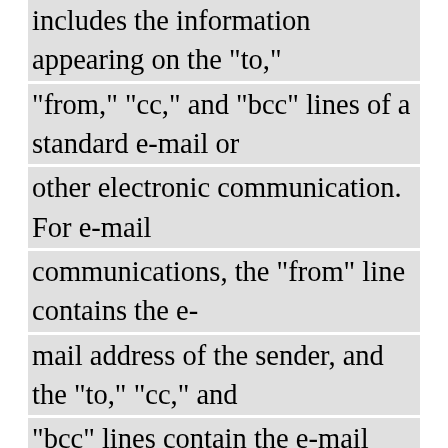includes the information appearing on the "to," "from," "cc," and "bcc" lines of a standard e-mail or other electronic communication. For e-mail communications, the "from" line contains the e-mail address of the sender, and the "to," "cc," and "bcc" lines contain the e-mail addresses of the recipients. "Metadata" also means (1) information about the Internet-protocol (IP) address of the computer from which an e-mail or other electronic communication was sent and, depending on the circumstances, the IP address of routers and servers on the Internet that have handled the communication during transmission; (2) the exchange of an IP address and e-mail address that occurs when a user logs into a web-based e-mail